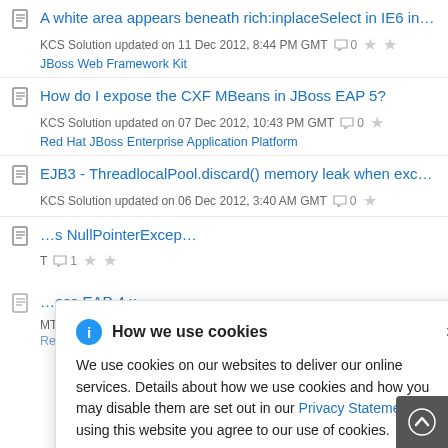A white area appears beneath rich:inplaceSelect in IE6 in WFK 1.2... KCS Solution updated on 11 Dec 2012, 8:44 PM GMT  0  JBoss Web Framework Kit
How do I expose the CXF MBeans in JBoss EAP 5? KCS Solution updated on 07 Dec 2012, 10:43 PM GMT  0  Red Hat JBoss Enterprise Application Platform
EJB3 - ThreadlocalPool.discard() memory leak when exception th... KCS Solution updated on 06 Dec 2012, 3:40 AM GMT  0
[Figure (screenshot): Cookie consent banner overlay with info icon, title 'How we use cookies', close button X, and body text about cookie usage with a Privacy Statement link.]
...s NullPointerExcep... T  1  ...oss EAP 4.x  MT  0  Red Hat JBoss Enterprise Application Platform